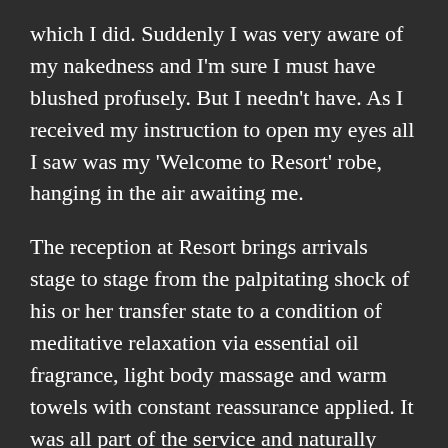which I did. Suddenly I was very aware of my nakedness and I'm sure I must have blushed profusely. But I needn't have. As I received my instruction to open my eyes all I saw was my 'Welcome to Resort' robe, hanging in the air awaiting me.
The reception at Resort brings arrivals stage to stage from the palpitating shock of his or her transfer state to a condition of meditative relaxation via essential oil fragrance, light body massage and warm towels with constant reassurance applied. It was all part of the service and naturally included within the enormous cost.
It felt remarkable as it started from the moment I...